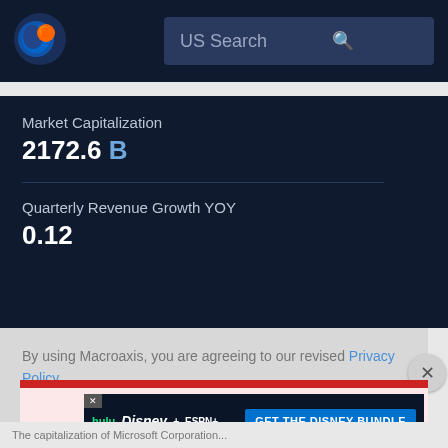[Figure (logo): Macroaxis logo - orange and blue circular globe icon]
US Search
Market Capitalization
2172.6 B
Quarterly Revenue Growth YOY
0.12
By using Macroaxis, you are agreeing to our revised Privacy Policy
OK
[Figure (screenshot): Disney Bundle advertisement banner: hulu Disney+ ESPN+ GET THE DISNEY BUNDLE. Incl. Hulu (ad-supported) or Hulu (No Ads). Access content from each service separately. ©2021 Disney and its related entities.]
The capitalization of Microsoft Corporation...